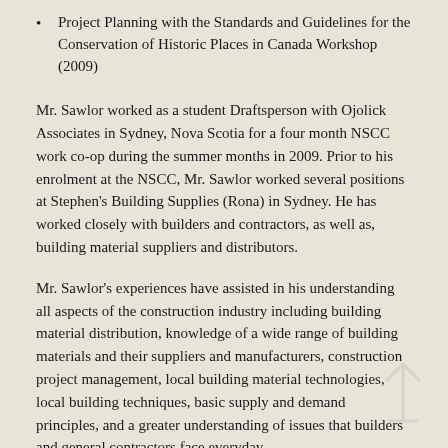Project Planning with the Standards and Guidelines for the Conservation of Historic Places in Canada Workshop (2009)
Mr. Sawlor worked as a student Draftsperson with Ojolick Associates in Sydney, Nova Scotia for a four month NSCC work co-op during the summer months in 2009. Prior to his enrolment at the NSCC, Mr. Sawlor worked several positions at Stephen's Building Supplies (Rona) in Sydney. He has worked closely with builders and contractors, as well as, building material suppliers and distributors.
Mr. Sawlor's experiences have assisted in his understanding all aspects of the construction industry including building material distribution, knowledge of a wide range of building materials and their suppliers and manufacturers, construction project management, local building material technologies, local building techniques, basic supply and demand principles, and a greater understanding of issues that builders and general contractors face everyday.
Mr. Sawlor is involved with a variety of tasks typical of the